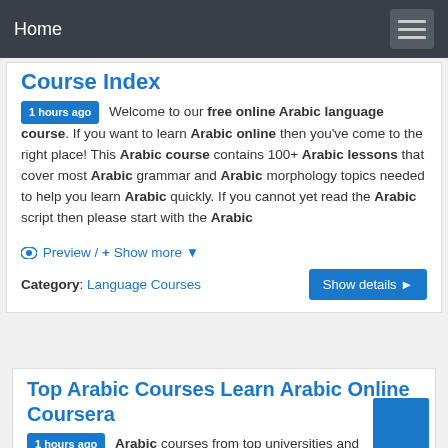Home
Course Index
1 hours ago  Welcome to our free online Arabic language course. If you want to learn Arabic online then you've come to the right place! This Arabic course contains 100+ Arabic lessons that cover most Arabic grammar and Arabic morphology topics needed to help you learn Arabic quickly. If you cannot yet read the Arabic script then please start with the Arabic
👁 Preview / + Show more ▼
Category: Language Courses
Top Arabic Courses Learn Arabic Online Coursera
1 hours ago  Arabic courses from top universities and